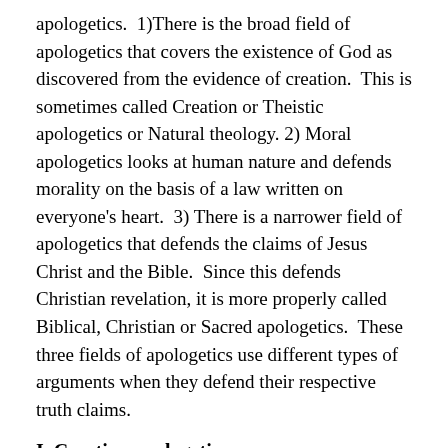apologetics.  1)There is the broad field of apologetics that covers the existence of God as discovered from the evidence of creation.  This is sometimes called Creation or Theistic apologetics or Natural theology. 2) Moral apologetics looks at human nature and defends morality on the basis of a law written on everyone's heart.  3) There is a narrower field of apologetics that defends the claims of Jesus Christ and the Bible.  Since this defends Christian revelation, it is more properly called Biblical, Christian or Sacred apologetics.  These three fields of apologetics use different types of arguments when they defend their respective truth claims.
I. Creation apologetics.
This is the defense of the existence and attributes of God based upon 'general' revelation.  General revelation is the revelation of God to all of humanity through creation.